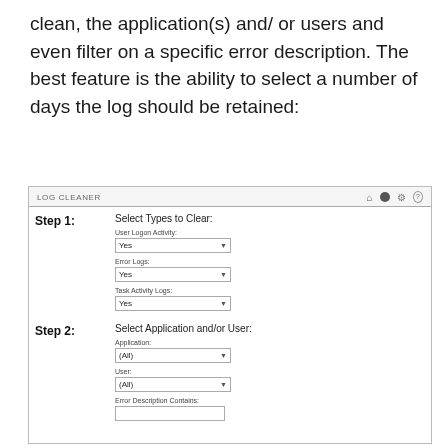clean, the application(s) and/or users and even filter on a specific error description. The best feature is the ability to select a number of days the log should be retained:
[Figure (screenshot): Screenshot of a Log Cleaner interface. Shows a navigation bar labeled 'LOG CLEANER' with icons. Step 1: Select Types to Clear with dropdowns for User Logon Activity (Yes), Error Logs (Yes), Task Activity Logs (Yes). Step 2: Select Application and/or User with dropdowns for Application (All), User (All), and a text field for Error Description Contains.]